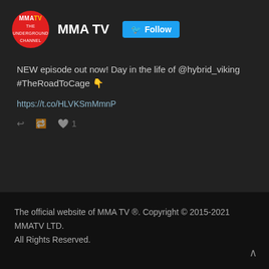[Figure (logo): MMA TV red circular logo with white text]
MMA TV
NEW episode out now! Day in the life of @hybrid_viking #TheRoadToCage 👇
https://t.co/HLVKSmMmnP
Load More...
The official website of MMA TV ®. Copyright © 2015-2021 MMATV LTD. All Rights Reserved.